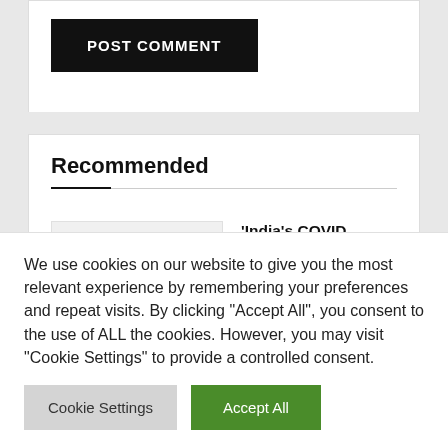POST COMMENT
Recommended
'India's COVID outbreak is a humanitarian crisis': American Senators call on drug companies to expand vaccine access globally
We use cookies on our website to give you the most relevant experience by remembering your preferences and repeat visits. By clicking "Accept All", you consent to the use of ALL the cookies. However, you may visit "Cookie Settings" to provide a controlled consent.
Cookie Settings
Accept All